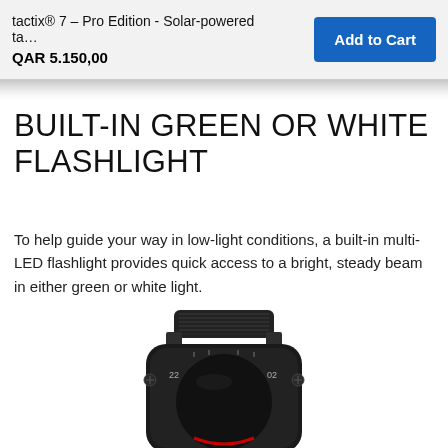tactix® 7 – Pro Edition - Solar-powered ta…
QAR 5.150,00
Add to Cart
BUILT-IN GREEN OR WHITE FLASHLIGHT
To help guide your way in low-light conditions, a built-in multi-LED flashlight provides quick access to a bright, steady beam in either green or white light.
[Figure (photo): Top-down view of the Garmin tactix 7 Pro Edition smartwatch showing the black bezel with minute markers (22, 24, 02 visible), tactical black nylon band strap at the top, and the watch face with a red accent visible at the bottom.]